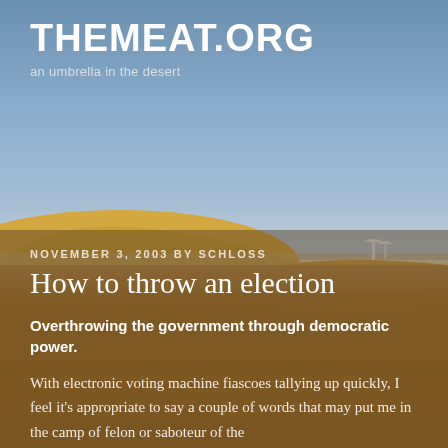[Figure (photo): Desert landscape with sandy dunes and blue sky. A small white umbrella or structure is visible in the far right distance on top of a dune. The upper portion shows blue sky and the lower portion shows golden/tan sand dunes.]
THEMEAT.ORG
an umbrella in the desert
NOVEMBER 3, 2003 BY SCHLOSS
How to throw an election
Overthrowing the government through democratic power.
With electronic voting machine fiascoes tallying up quickly, I feel it's appropriate to say a couple of words that may put me in the camp of felon or saboteur of the